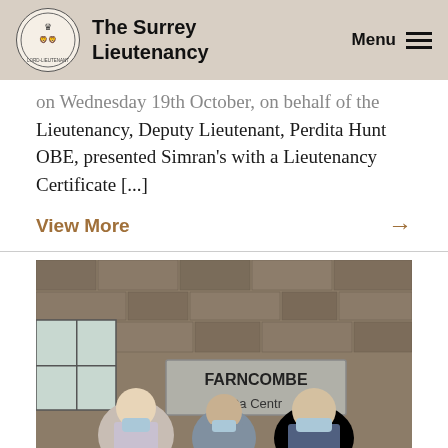The Surrey Lieutenancy
on Wednesday 19th October, on behalf of the Lieutenancy, Deputy Lieutenant, Perdita Hunt OBE, presented Simran's with a Lieutenancy Certificate [...]
View More →
[Figure (photo): Three people wearing face masks standing outside Farncombe Day Centre, a stone building. The person in the middle is holding a certificate.]